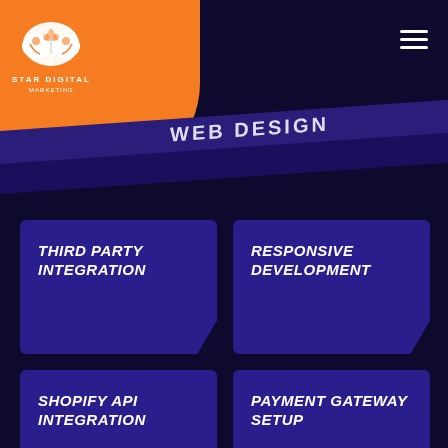[Figure (logo): Star Digital Marketing logo — brain icon above text STAR DIGITAL MARKETING on orange background]
WEB DESIGN
THIRD PARTY INTEGRATION
RESPONSIVE DEVELOPMENT
SHOPIFY API INTEGRATION
PAYMENT GATEWAY SETUP